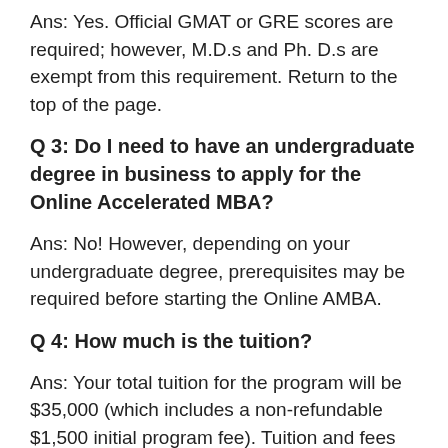Ans: Yes. Official GMAT or GRE scores are required; however, M.D.s and Ph. D.s are exempt from this requirement. Return to the top of the page.
Q 3: Do I need to have an undergraduate degree in business to apply for the Online Accelerated MBA?
Ans: No! However, depending on your undergraduate degree, prerequisites may be required before starting the Online AMBA.
Q 4: How much is the tuition?
Ans: Your total tuition for the program will be $35,000 (which includes a non-refundable $1,500 initial program fee). Tuition and fees are